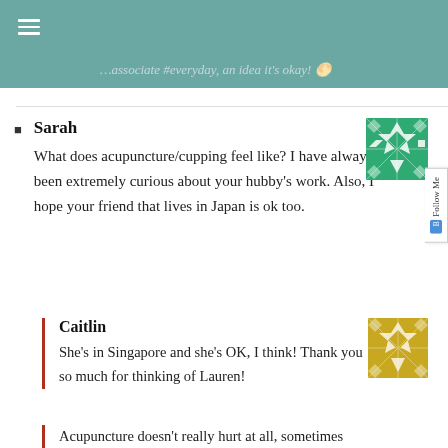≡
…associate #everyday, an idea it's okay! 🌕
Sarah — What does acupuncture/cupping feel like? I have always been extremely curious about your hubby's work. Also, I hope your friend that lives in Japan is ok too.
Caitlin — She's in Singapore and she's OK, I think! Thank you so much for thinking of Lauren!
Acupuncture doesn't really hurt at all, sometimes